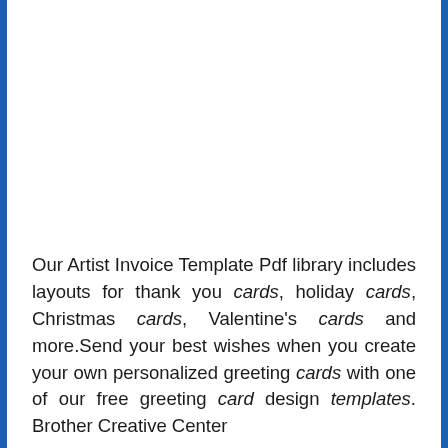Our Artist Invoice Template Pdf library includes layouts for thank you cards, holiday cards, Christmas cards, Valentine's cards and more.Send your best wishes when you create your own personalized greeting cards with one of our free greeting card design templates. Brother Creative Center